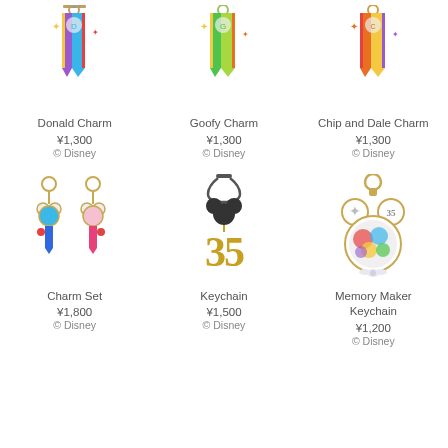[Figure (photo): Donald Charm keychain with colorful ribbon bookmark design]
Donald Charm
¥1,300
© Disney
[Figure (photo): Goofy Charm keychain with colorful ribbon bookmark design]
Goofy Charm
¥1,300
© Disney
[Figure (photo): Chip and Dale Charm keychain with colorful ribbon bookmark design]
Chip and Dale Charm
¥1,300
© Disney
[Figure (photo): Charm Set with two keychains featuring Donald and Daisy Duck blue and pink charms]
Charm Set
¥1,800
© Disney
[Figure (photo): Keychain with Mickey Mouse silhouette and 35 anniversary gold number]
Keychain
¥1,500
© Disney
[Figure (photo): Memory Maker Keychain with Mickey Mouse ear shaped frame containing colorful Disney characters]
Memory Maker Keychain
¥1,200
© Disney